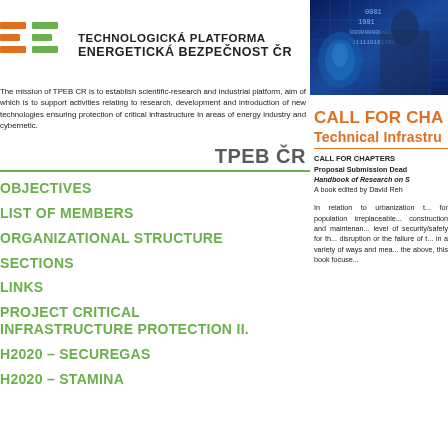[Figure (logo): TPEB CR logo with orange and green E3 symbol and text TECHNOLOGICKÁ PLATFORMA ENERGETICKÁ BEZPEČNOST ČR]
The mission of TPEB CR is to establish scientific-research and industrial platform, aim of which is to support activities relating to research, development and introduction of new technologies ensuring protection of critical infrastructure in areas of energy industry and cybernetic.
[Figure (photo): Digital cybersecurity photo with binary code overlay on blue background]
TPEB ČR
CALL FOR CHAPTERS Technical Infrastr...
OBJECTIVES
LIST OF MEMBERS
ORGANIZATIONAL STRUCTURE
SECTIONS
LINKS
PROJECT CRITICAL INFRASTRUCTURE PROTECTION II.
H2020 – SECUREGAS
H2020 – STAMINA
CALL FOR CHAPTERS
Proposal Submission Dead...
Handbook of Research on S...
A book edited by David Reh...
In relation to urbanization t... for population irreplaceable... construction and maintenan... level of security/safety for th... disruption or the failure of t... in a variety of ways and mea... the above, this book focuse...